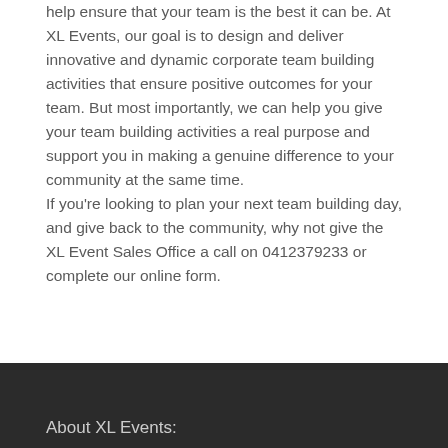help ensure that your team is the best it can be. At XL Events, our goal is to design and deliver innovative and dynamic corporate team building activities that ensure positive outcomes for your team. But most importantly, we can help you give your team building activities a real purpose and support you in making a genuine difference to your community at the same time.
If you're looking to plan your next team building day, and give back to the community, why not give the XL Event Sales Office a call on 0412379233 or complete our online form.
About XL Events: